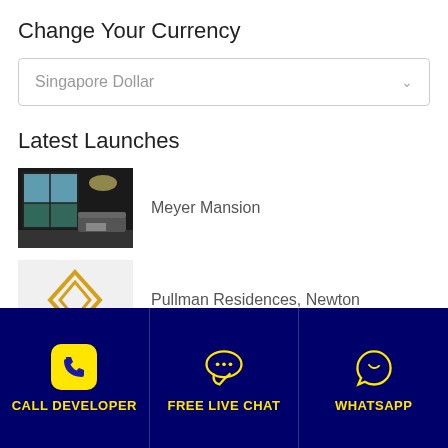Change Your Currency
Singapore Dollar
Latest Launches
Meyer Mansion
Pullman Residences, Newton
RoyalGreen
CALL DEVELOPER
FREE LIVE CHAT
WHATSAPP